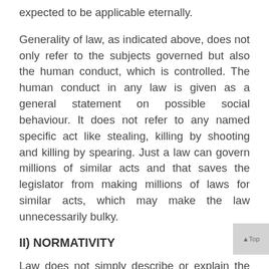expected to be applicable eternally.
Generality of law, as indicated above, does not only refer to the subjects governed but also the human conduct, which is controlled. The human conduct in any law is given as a general statement on possible social behaviour. It does not refer to any named specific act like stealing, killing by shooting and killing by spearing. Just a law can govern millions of similar acts and that saves the legislator from making millions of laws for similar acts, which may make the law unnecessarily bulky.
II) NORMATIVITY
Law does not simply describe or explain the human conduct it is made to control. It is created with the intention to create some norms in the